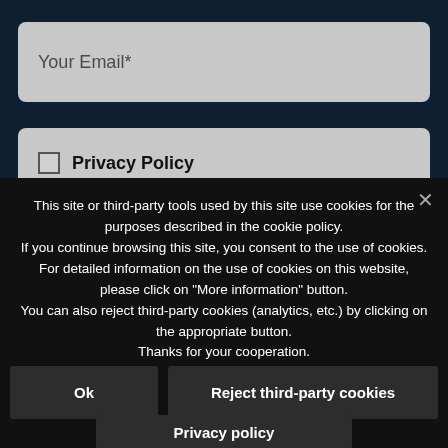Your Email*
Privacy Policy
This site or third-party tools used by this site use cookies for the purposes described in the cookie policy.
If you continue browsing this site, you consent to the use of cookies.
For detailed information on the use of cookies on this website, please click on "More information" button.
You can also reject third-party cookies (analytics, etc.) by clicking on the appropriate button.
Thanks for your cooperation.
Ok
Reject third-party cookies
Privacy policy